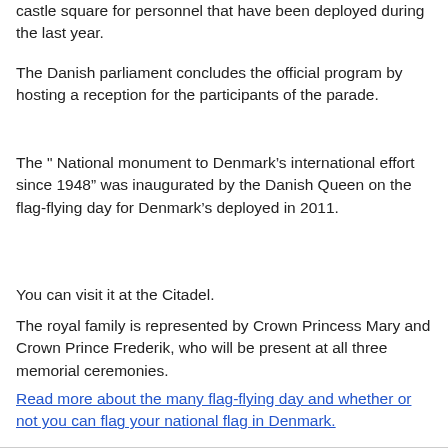castle square for personnel that have been deployed during the last year.
The Danish parliament concludes the official program by hosting a reception for the participants of the parade.
The " National monument to Denmark’s international effort since 1948” was inaugurated by the Danish Queen on the flag-flying day for Denmark’s deployed in 2011.
You can visit it at the Citadel.
The royal family is represented by Crown Princess Mary and Crown Prince Frederik, who will be present at all three memorial ceremonies.
Read more about the many flag-flying day and whether or not you can flag your national flag in Denmark.